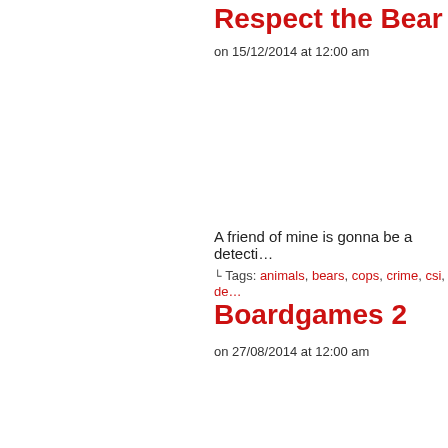Respect the Bear
on 15/12/2014 at 12:00 am
A friend of mine is gonna be a detecti...
Tags: animals, bears, cops, crime, csi, de...
Boardgames 2
on 27/08/2014 at 12:00 am